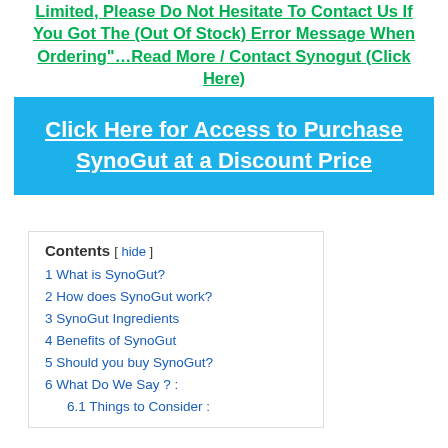Limited, Please Do Not Hesitate To Contact Us If You Got The (Out Of Stock) Error Message When Ordering"…Read More / Contact Synogut (Click Here)
[Figure (other): Blue button/banner with white bold underlined text: Click Here for Access to Purchase SynoGut at a Discount Price]
1 What is SynoGut?
2 How does SynoGut work?
3 SynoGut Ingredients
4 Benefits of SynoGut
5 Should you buy SynoGut?
6 What Do We Say ? :
6.1 Things to Consider :